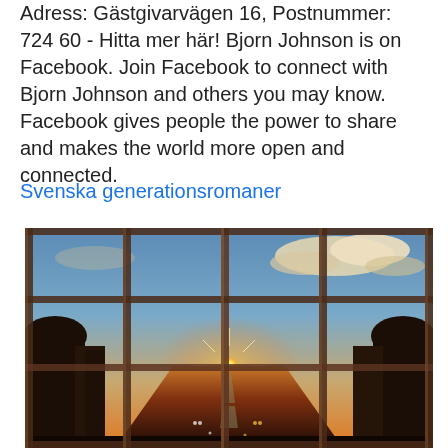Adress: Gästgivarvägen 16, Postnummer: 724 60 - Hitta mer här! Bjorn Johnson is on Facebook. Join Facebook to connect with Bjorn Johnson and others you may know. Facebook gives people the power to share and makes the world more open and connected.
Svenska generationsromaner
[Figure (photo): Sunset photo taken through a metal grid/fence railing of a highway with cars, trees lining both sides, sun setting on the horizon creating a starburst effect, with blue sky and clouds above.]